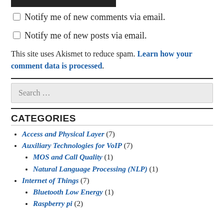Notify me of new comments via email.
Notify me of new posts via email.
This site uses Akismet to reduce spam. Learn how your comment data is processed.
Search …
CATEGORIES
Access and Physical Layer (7)
Auxiliary Technologies for VoIP (7)
MOS and Call Quality (1)
Natural Language Processing (NLP) (1)
Internet of Things (7)
Bluetooth Low Energy (1)
Raspberry pi (2)